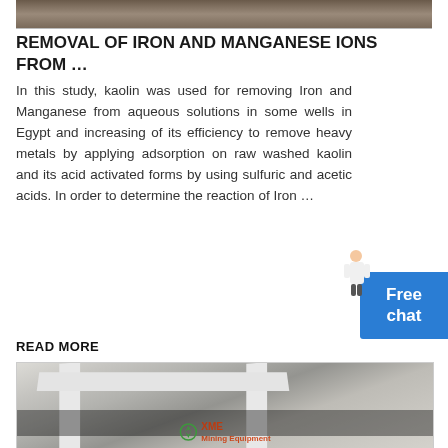[Figure (photo): Partial image of what appears to be an outdoor scene or mining/industrial area, shown cropped at top of page]
REMOVAL OF IRON AND MANGANESE IONS FROM …
In this study, kaolin was used for removing Iron and Manganese from aqueous solutions in some wells in Egypt and increasing of its efficiency to remove heavy metals by applying adsorption on raw washed kaolin and its acid activated forms by using sulfuric and acetic acids. In order to determine the reaction of Iron …
READ MORE
[Figure (photo): Close-up photograph of industrial/mining equipment with white metal frames and rollers, with XME Mining Equipment watermark logo]